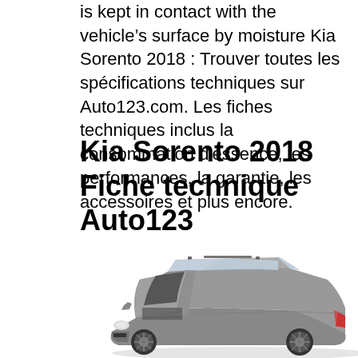is kept in contact with the vehicle's surface by moisture Kia Sorento 2018 : Trouver toutes les spécifications techniques sur Auto123.com. Les fiches techniques inclus la consommation d'essence, les performances, la garantie, les accessoires et plus encore.
Kia Sorento 2018 Fiche technique Auto123
[Figure (photo): Photo of a silver/grey Kia Sorento 2018 SUV with driver side rear door open, shown at a three-quarter front angle on white background.]